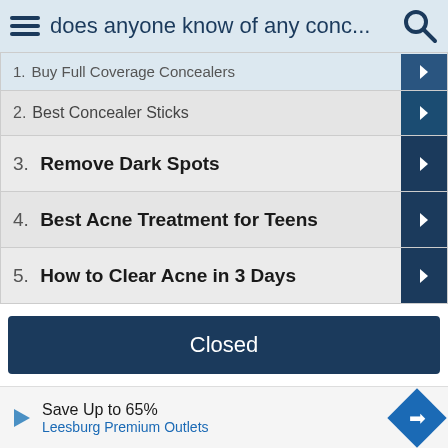does anyone know of any conc...
2.  Best Concealer Sticks
3.  Remove Dark Spots
4.  Best Acne Treatment for Teens
5.  How to Clear Acne in 3 Days
Closed
Do all concealers require a foundation or something else?
Does ANYONE else feel *this* way? (Open Discussion Th...
Save Up to 65% Leesburg Premium Outlets